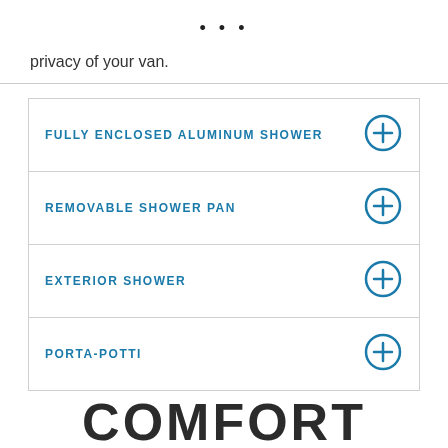• • •
privacy of your van.
FULLY ENCLOSED ALUMINUM SHOWER
REMOVABLE SHOWER PAN
EXTERIOR SHOWER
PORTA-POTTI
COMFORT